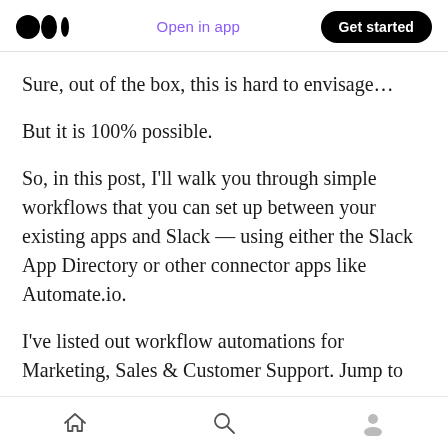Open in app | Get started
Sure, out of the box, this is hard to envisage…
But it is 100% possible.
So, in this post, I'll walk you through simple workflows that you can set up between your existing apps and Slack — using either the Slack App Directory or other connector apps like Automate.io.
I've listed out workflow automations for Marketing, Sales & Customer Support. Jump to
Home | Search | Profile